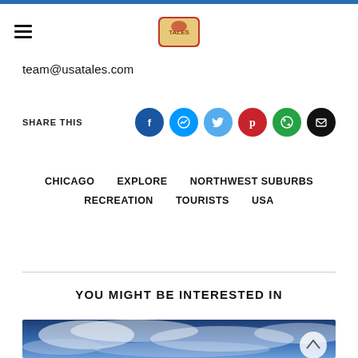team@usatales.com
SHARE THIS
CHICAGO   EXPLORE   NORTHWEST SUBURBS   RECREATION   TOURISTS   USA
YOU MIGHT BE INTERESTED IN
[Figure (photo): Aerial sky photo with clouds and blue sky, partially visible at bottom of page]